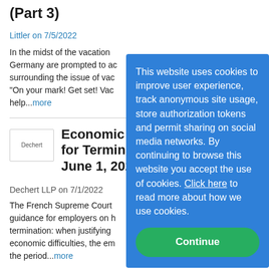(Part 3)
Littler on 7/5/2022
In the midst of the vacation Germany are prompted to ac surrounding the issue of vac "On your mark! Get set! Vac help...more
Economic Diffi for Termination June 1, 2022, n°
Dechert LLP on 7/1/2022
The French Supreme Court guidance for employers on h termination: when justifying economic difficulties, the em the period...more
[Figure (other): Cookie consent overlay on blue background with Continue button]
[Figure (logo): Dechert logo box]